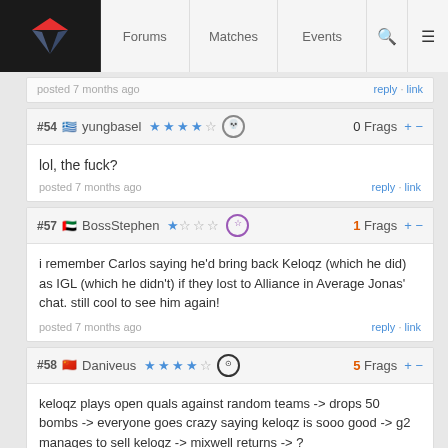Forums  Matches  Events
posted 7 months ago
#54  yungbasel  0 Frags
lol, the fuck?
posted 7 months ago
#57  BossStephen  1 Frags
i remember Carlos saying he'd bring back Keloqz (which he did) as IGL (which he didn't) if they lost to Alliance in Average Jonas' chat. still cool to see him again!
posted 7 months ago
#58  Daniveus  5 Frags
keloqz plays open quals against random teams -> drops 50 bombs -> everyone goes crazy saying keloqz is sooo good -> g2 manages to sell keloqz -> mixwell returns -> ?